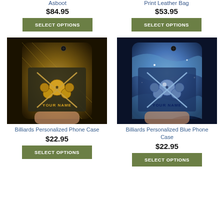Asboot
$84.95
SELECT OPTIONS
Print Leather Bag
$53.95
SELECT OPTIONS
[Figure (photo): Hand holding a gold/tan billiards phone case with cue sticks and 8-ball design and YOUR NAME text]
Billiards Personalized Phone Case
$22.95
SELECT OPTIONS
[Figure (photo): Hand holding a blue crystal billiards phone case with cue sticks and 8-ball design and YOUR NAME text]
Billiards Personalized Blue Phone Case
$22.95
SELECT OPTIONS